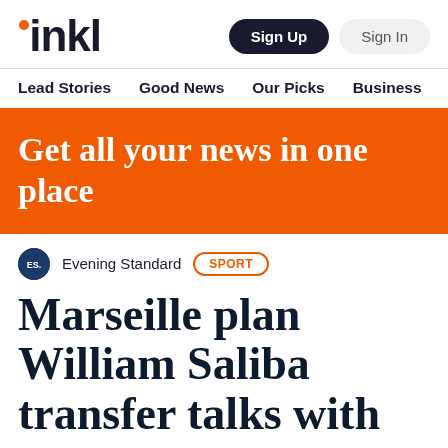inkl
Sign Up  Sign In
Lead Stories  Good News  Our Picks  Business  A
Get all your news in one place
Evening Standard  SPORT
Marseille plan William Saliba transfer talks with